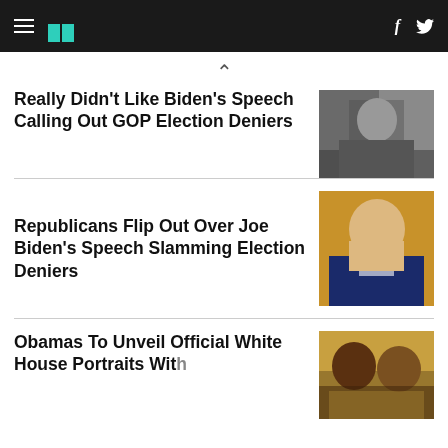HuffPost
Really Didn't Like Biden's Speech Calling Out GOP Election Deniers
[Figure (photo): Person gesturing at a podium with American flags in background]
Republicans Flip Out Over Joe Biden's Speech Slamming Election Deniers
[Figure (photo): Man in suit speaking, pointing finger, microphone visible]
Obamas To Unveil Official White House Portraits With...
[Figure (photo): Two men smiling together at event with gold curtain background]